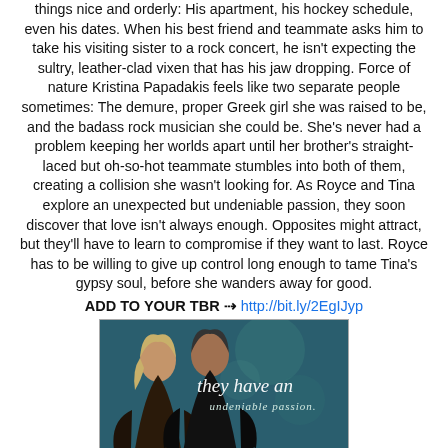things nice and orderly: His apartment, his hockey schedule, even his dates. When his best friend and teammate asks him to take his visiting sister to a rock concert, he isn't expecting the sultry, leather-clad vixen that has his jaw dropping. Force of nature Kristina Papadakis feels like two separate people sometimes: The demure, proper Greek girl she was raised to be, and the badass rock musician she could be. She's never had a problem keeping her worlds apart until her brother's straight-laced but oh-so-hot teammate stumbles into both of them, creating a collision she wasn't looking for. As Royce and Tina explore an unexpected but undeniable passion, they soon discover that love isn't always enough. Opposites might attract, but they'll have to learn to compromise if they want to last. Royce has to be willing to give up control long enough to tame Tina's gypsy soul, before she wanders away for good.
ADD TO YOUR TBR ⇢ http://bit.ly/2EgIJyp
[Figure (photo): Book cover showing a couple in an embrace with the text 'they have an undeniable passion' overlaid on a teal/blue background. Small store icons visible at the bottom right.]